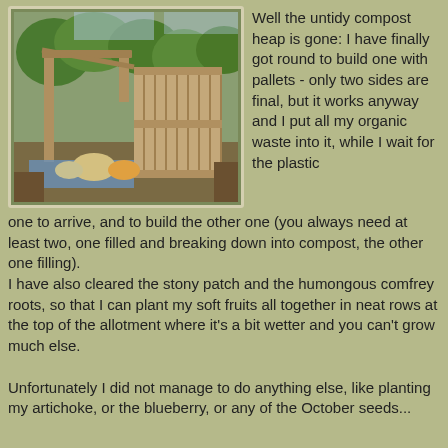[Figure (photo): Outdoor photo of a wooden pallet compost bin structure in a garden allotment setting, with greenery and trees in the background.]
Well the untidy compost heap is gone: I have finally got round to build one with pallets - only two sides are final, but it works anyway and I put all my organic waste into it, while I wait for the plastic one to arrive, and to build the other one (you always need at least two, one filled and breaking down into compost, the other one filling).
I have also cleared the stony patch and the humongous comfrey roots, so that I can plant my soft fruits all together in neat rows at the top of the allotment where it's a bit wetter and you can't grow much else.

Unfortunately I did not manage to do anything else, like planting my artichoke, or the blueberry, or any of the October seeds...